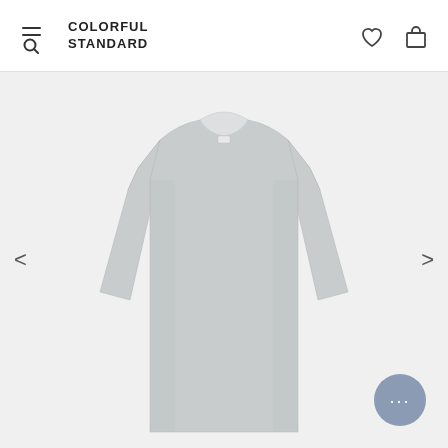COLORFUL STANDARD
[Figure (photo): Light gray long-sleeve crew neck t-shirt displayed on a light gray background, showing the front of the garment with long sleeves and a small label at the collar.]